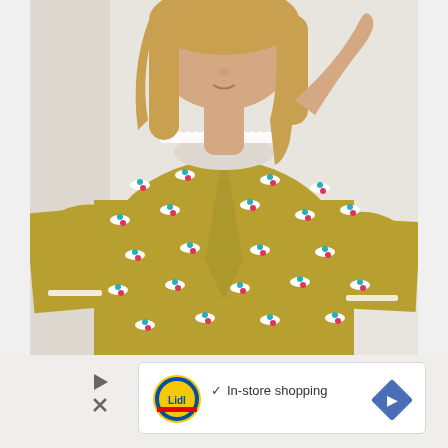[Figure (photo): A young blonde girl wearing a mustard yellow dress with a small floral/bird print pattern in white, teal, and pink. The dress has lace trim at the collar and sleeves. She is posing with one hand raised near her head, looking slightly downward. The background is a light neutral wall.]
[Figure (infographic): An advertisement bar for Lidl (grocery store) showing the Lidl circular logo, a checkmark followed by 'In-store shopping' text, a play/close button on the left, and a blue diamond-shaped navigation arrow on the right.]